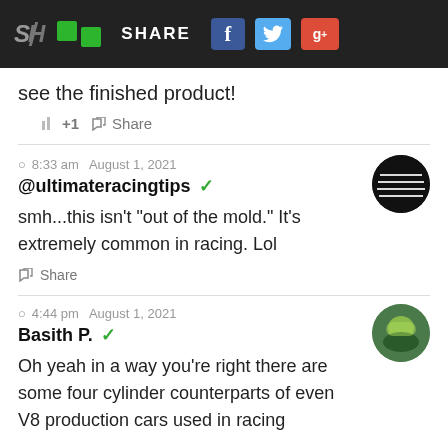SH | SHARE | f | Twitter | g+
see the finished product!
+1   Share
8:33 am   August 1, 2021
@ultimateracingtips ✓
smh...this isn't "out of the mold." It's extremely common in racing. Lol
Share
4:44 pm   August 1, 2021
Basith P. ✓
Oh yeah in a way you're right there are some four cylinder counterparts of even V8 production cars used in racing